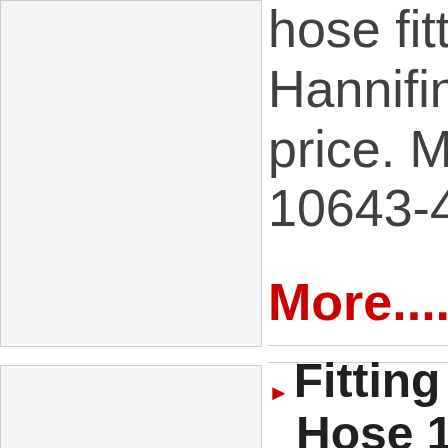[Figure (other): Product image placeholder - top left, light gray rectangle with border]
hose fitting Hannifin at price. Man 10643-4-4
More....
[Figure (other): Product image placeholder - bottom left, light gray rectangle with border]
Fitting Cr Hose 1 in